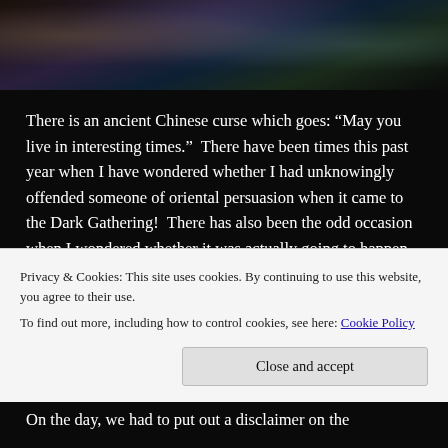[Figure (illustration): Dark fantasy illustration showing figures in misty atmospheric scene with dark tones of blue, purple and brown]
There is an ancient Chinese curse which goes: “May you live in interesting times.”  There have been times this past year when I have wondered whether I had unknowingly offended someone of oriental persuasion when it came to the Dark Gathering!  There has also been the odd occasion when I wondered whether it was actually going to happen or not, especially when it came to wrangling with the dead hand of bureaucracy. Indeed as the date of this year’s Dark Gathering
Privacy & Cookies: This site uses cookies. By continuing to use this website, you agree to their use.
To find out more, including how to control cookies, see here: Cookie Policy
On the day, we had to put out a disclaimer on the